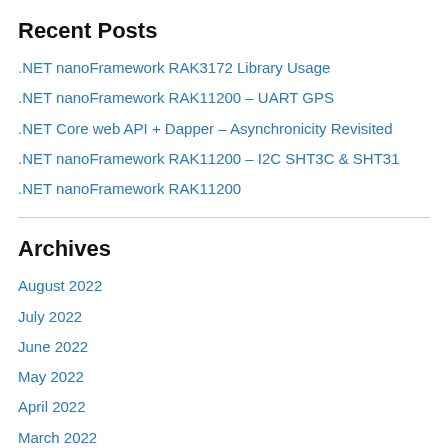Recent Posts
.NET nanoFramework RAK3172 Library Usage
.NET nanoFramework RAK11200 – UART GPS
.NET Core web API + Dapper – Asynchronicity Revisited
.NET nanoFramework RAK11200 – I2C SHT3C & SHT31
.NET nanoFramework RAK11200
Archives
August 2022
July 2022
June 2022
May 2022
April 2022
March 2022
February 2022
January 2022
December 2021